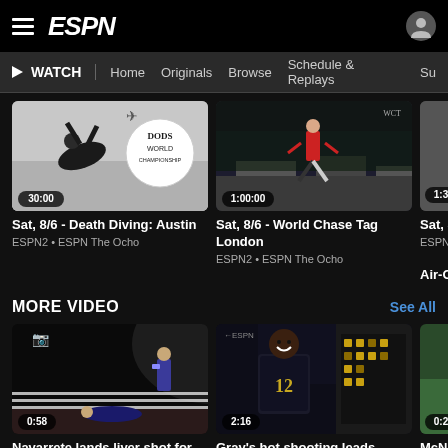ESPN - WATCH | Home | Originals | Browse | Schedule & Replays
[Figure (screenshot): Video thumbnail: Death Diving competitors mid-air, DODS World Championship logo. Duration: 30:00]
Sat, 8/6 - Death Diving: Austin
ESPN2 • ESPN The Ocho
[Figure (screenshot): Video thumbnail: World Chase Tag athletes on elevated platforms in arena. Duration: 1:00:00]
Sat, 8/6 - World Chase Tag London
ESPN2 • ESPN The Ocho
[Figure (screenshot): Partial video thumbnail. Duration: 1:3...]
Sat, 8/...Air-O...
ESPN...
MORE VIDEO
See All
[Figure (screenshot): Video thumbnail: Boxing match, fighter lands liver shot. Duration: 0:58]
Navarrete lands liver shot for KO-ing...
[Figure (screenshot): Video thumbnail: WNBA player smiling on court, jersey #12. Duration: 2:16]
Gray's hot shooting leads...
[Figure (screenshot): Partial video thumbnail. Duration: 0:2...]
McNe...